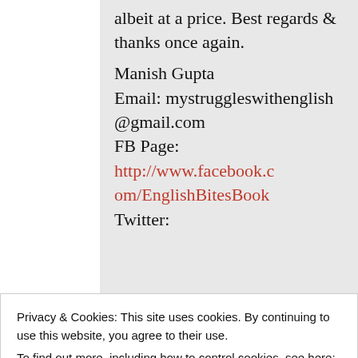albeit at a price. Best regards & thanks once again.
Manish Gupta
Email: mystruggleswithenglish@gmail.com
FB Page: http://www.facebook.com/EnglishBitesBook
Twitter:
Privacy & Cookies: This site uses cookies. By continuing to use this website, you agree to their use.
To find out more, including how to control cookies, see here: Cookie Policy
Close and accept
http://www.facebook.c